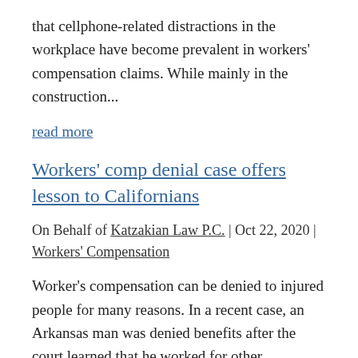that cellphone-related distractions in the workplace have become prevalent in workers' compensation claims. While mainly in the construction...
read more
Workers' comp denial case offers lesson to Californians
On Behalf of Katzakian Law P.C. | Oct 22, 2020 | Workers' Compensation
Worker's compensation can be denied to injured people for many reasons. In a recent case, an Arkansas man was denied benefits after the court learned that he worked for other companies